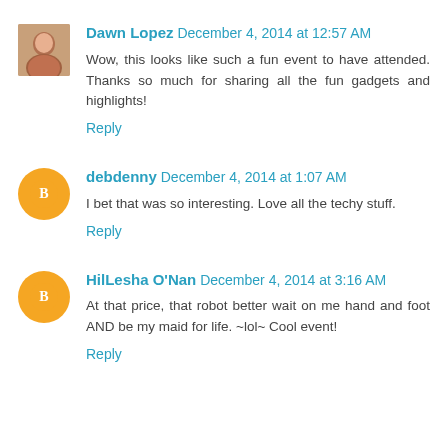Dawn Lopez  December 4, 2014 at 12:57 AM
Wow, this looks like such a fun event to have attended. Thanks so much for sharing all the fun gadgets and highlights!
Reply
debdenny  December 4, 2014 at 1:07 AM
I bet that was so interesting. Love all the techy stuff.
Reply
HilLesha O'Nan  December 4, 2014 at 3:16 AM
At that price, that robot better wait on me hand and foot AND be my maid for life. ~lol~ Cool event!
Reply